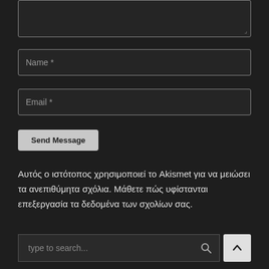[Figure (screenshot): Textarea input box (dark background, light border) at top of page, partially cut off]
[Figure (screenshot): Name text input field with placeholder 'Name *']
[Figure (screenshot): Email text input field with placeholder 'Email *']
[Figure (screenshot): Send Message button (light gray rounded)]
Αυτός ο ιστότοπος χρησιμοποιεί το Akismet για να μειώσει τα ανεπιθύμητα σχόλια. Μάθετε πώς υφίστανται επεξεργασία τα δεδομένα των σχολίων σας.
[Figure (screenshot): Search bar with placeholder 'type to search...' and search icon button, and an up-arrow button]